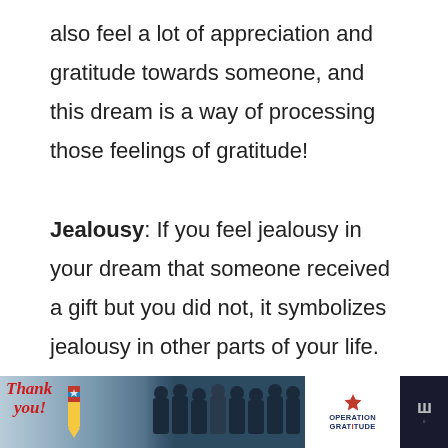also feel a lot of appreciation and gratitude towards someone, and this dream is a way of processing those feelings of gratitude!

Jealousy: If you feel jealousy in your dream that someone received a gift but you did not, it symbolizes jealousy in other parts of your life.
[Figure (screenshot): Bottom advertisement banner showing 'Thank you!' handwritten text with American flag imagery, firefighters group photo, Operation Gratitude logo, close button, and W logo on dark background]